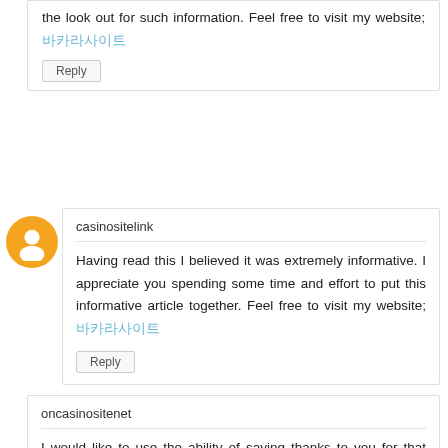the look out for such information. Feel free to visit my website; 바카라사이트
Reply
casinositelink
Having read this I believed it was extremely informative. I appreciate you spending some time and effort to put this informative article together. Feel free to visit my website; 바카라사이트
Reply
oncasinositenet
I would like to use the ability of saying thanks to you for that professional guidance I have usually enjoyed checking out your site. Feel free to visit my website; 바카